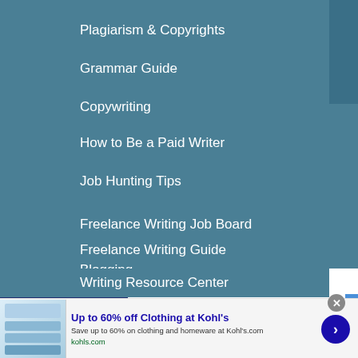Plagiarism & Copyrights
Grammar Guide
Copywriting
How to Be a Paid Writer
Job Hunting Tips
Freelance Writing Job Board
Freelance Writing Guide
Blogging
Writing Resource Center
[Figure (screenshot): Infolinks ad network logo bar at bottom of navigation]
[Figure (screenshot): Kohl's advertisement banner: Up to 60% off Clothing at Kohl's. Save up to 60% on clothing and homeware at Kohl's.com. kohls.com]